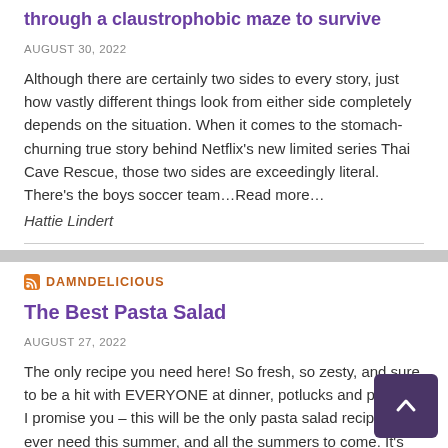through a claustrophobic maze to survive
AUGUST 30, 2022
Although there are certainly two sides to every story, just how vastly different things look from either side completely depends on the situation. When it comes to the stomach-churning true story behind Netflix's new limited series Thai Cave Rescue, those two sides are exceedingly literal. There's the boys soccer team…Read more…
Hattie Lindert
DAMNDELICIOUS
The Best Pasta Salad
AUGUST 27, 2022
The only recipe you need here! So fresh, so zesty, and sure to be a hit with EVERYONE at dinner, potlucks and picnics! I promise you – this will be the only pasta salad recipe you ever need this summer, and all the summers to come. It's absolu…